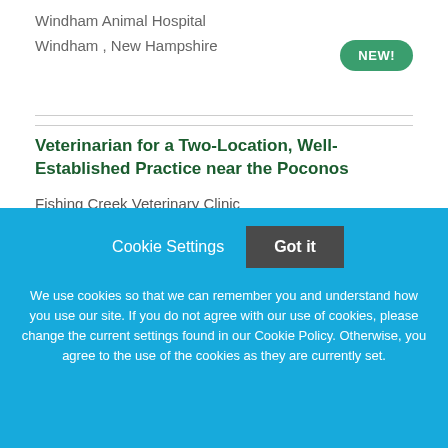Windham Animal Hospital
Windham , New Hampshire
NEW!
Veterinarian for a Two-Location, Well-Established Practice near the Poconos
Fishing Creek Veterinary Clinic
Stillwater, Pennsylvania
Cookie Settings
Got it
We use cookies so that we can remember you and understand how you use our site. If you do not agree with our use of cookies, please change the current settings found in our Cookie Policy. Otherwise, you agree to the use of the cookies as they are currently set.